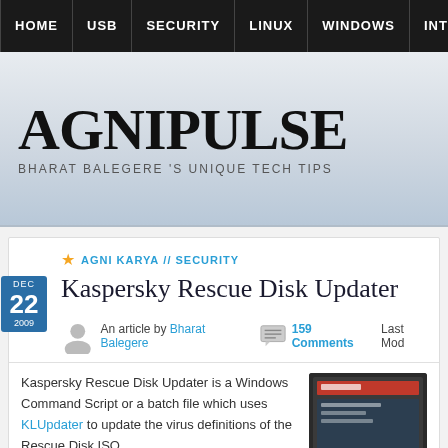HOME | USB | SECURITY | LINUX | WINDOWS | INTERNET | FREE...
AGNIPULSE
BHARAT BALEGERE 'S UNIQUE TECH TIPS
AGNI KARYA // SECURITY
Kaspersky Rescue Disk Updater
An article by Bharat Balegere  159 Comments  Last Mod
Kaspersky Rescue Disk Updater is a Windows Command Script or a batch file which uses KLUpdater to update the virus definitions of the Rescue Disk ISO.
[Figure (screenshot): Screenshot thumbnail of Kaspersky Rescue Disk Updater interface]